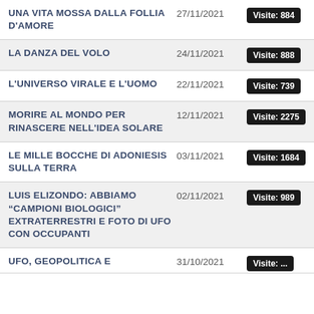UNA VITA MOSSA DALLA FOLLIA D'AMORE | 27/11/2021 | Visite: 884
LA DANZA DEL VOLO | 24/11/2021 | Visite: 888
L'UNIVERSO VIRALE E L'UOMO | 22/11/2021 | Visite: 739
MORIRE AL MONDO PER RINASCERE NELL'IDEA SOLARE | 12/11/2021 | Visite: 2275
LE MILLE BOCCHE DI ADONIESIS SULLA TERRA | 03/11/2021 | Visite: 1684
LUIS ELIZONDO: ABBIAMO "CAMPIONI BIOLOGICI" EXTRATERRESTRI E FOTO DI UFO CON OCCUPANTI | 02/11/2021 | Visite: 989
UFO, GEOPOLITICA E ... | 31/10/2021 | Visite: ...